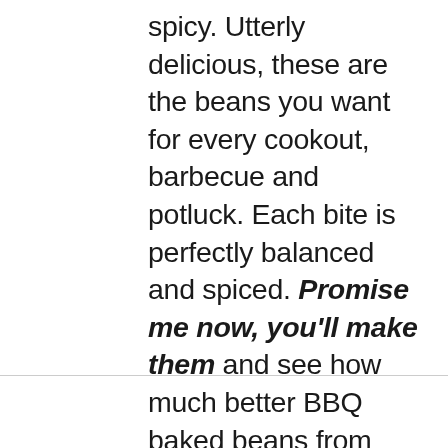spicy. Utterly delicious, these are the beans you want for every cookout, barbecue and potluck. Each bite is perfectly balanced and spiced. Promise me now, you'll make them and see how much better BBQ baked beans from scratch can be.